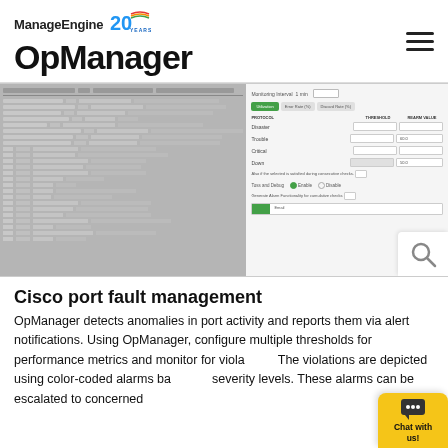ManageEngine OpManager
[Figure (screenshot): OpManager software interface showing a Cisco port monitoring table on the left with device/port data rows, and a threshold configuration panel on the right with severity settings (Disaster, Trouble, Critical, Down) and monitoring interval options.]
Cisco port fault management
OpManager detects anomalies in port activity and reports them via alert notifications. Using OpManager, configure multiple thresholds for performance metrics and monitor for violations. The violations are depicted using color-coded alarms based on severity levels. These alarms can be escalated to concerned